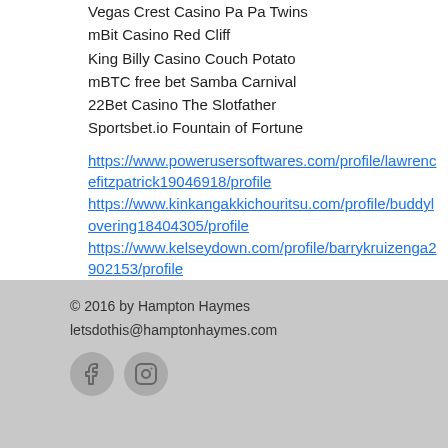Vegas Crest Casino Pa Pa Twins
mBit Casino Red Cliff
King Billy Casino Couch Potato
mBTC free bet Samba Carnival
22Bet Casino The Slotfather
Sportsbet.io Fountain of Fortune
https://www.powerusersoftwares.com/profile/lawrencefitzpatrick19046918/profile https://www.kinkangakkichouritsu.com/profile/buddylovering18404305/profile https://www.kelseydown.com/profile/barrykruizenga2902153/profile https://www.goodearthlandscapeandbuildingsupplies.com/profile/jacobreicks6764248/profile
© 2016 by Hampton Haymes
letsdothis@hamptonhaymes.com